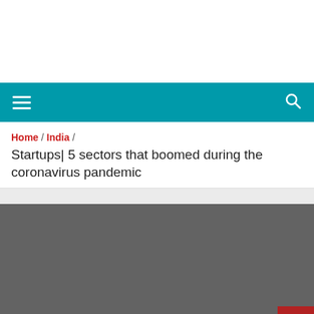Home / India / Startups| 5 sectors that boomed during the coronavirus pandemic
Startups| 5 sectors that boomed during the coronavirus pandemic
[Figure (photo): Dark gray image placeholder for article about startup sectors that boomed during covid-19 pandemic]